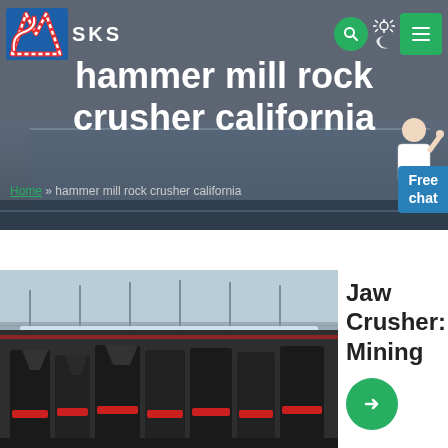SKS
hammer mill rock crusher california
Home » hammer mill rock crusher california
[Figure (photo): Industrial factory interior showing rows of large black and red mining crusher machines (likely cone crushers) lined up inside a large warehouse/factory building with steel roof trusses and overhead lighting]
Jaw Crusher: Mining